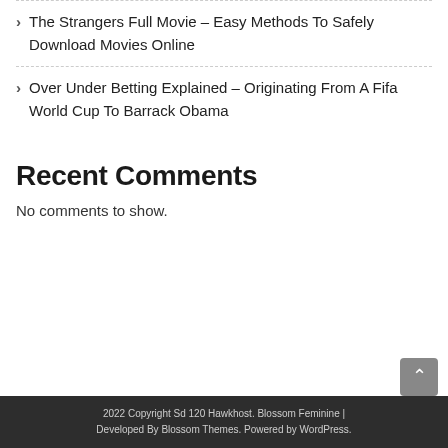The Strangers Full Movie – Easy Methods To Safely Download Movies Online
Over Under Betting Explained – Originating From A Fifa World Cup To Barrack Obama
Recent Comments
No comments to show.
2022 Copyright Sd 120 Hawkhost. Blossom Feminine | Developed By Blossom Themes. Powered by WordPress.